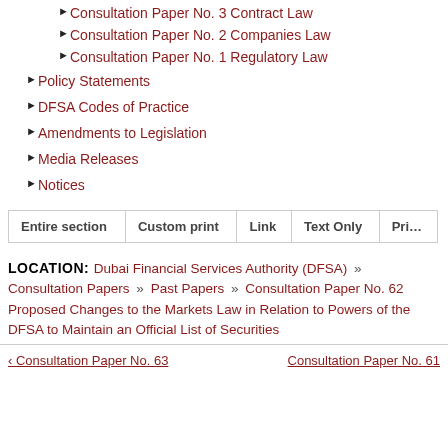Consultation Paper No. 3 Contract Law
Consultation Paper No. 2 Companies Law
Consultation Paper No. 1 Regulatory Law
Policy Statements
DFSA Codes of Practice
Amendments to Legislation
Media Releases
Notices
| Entire section | Custom print | Link | Text Only | Print |
| --- | --- | --- | --- | --- |
LOCATION: Dubai Financial Services Authority (DFSA) » Consultation Papers » Past Papers » Consultation Paper No. 62 Proposed Changes to the Markets Law in Relation to Powers of the DFSA to Maintain an Official List of Securities
‹ Consultation Paper No. 63    Consultation Paper No. 61